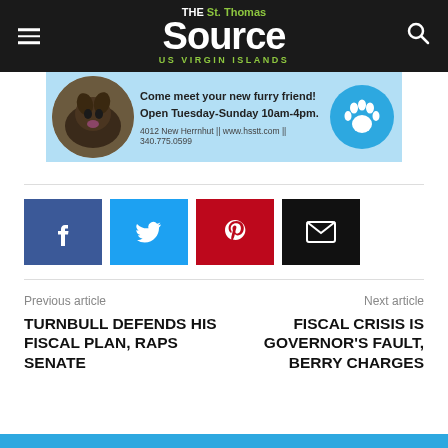THE St. Thomas Source US VIRGIN ISLANDS
[Figure (illustration): Animal shelter advertisement with dog photo and paw print icon. Text: Come meet your new furry friend! Open Tuesday-Sunday 10am-4pm. 4012 New Herrnhut || www.hsstt.com || 340.775.0599]
Facebook share button
Twitter share button
Pinterest share button
Email share button
Previous article
TURNBULL DEFENDS HIS FISCAL PLAN, RAPS SENATE
Next article
FISCAL CRISIS IS GOVERNOR'S FAULT, BERRY CHARGES